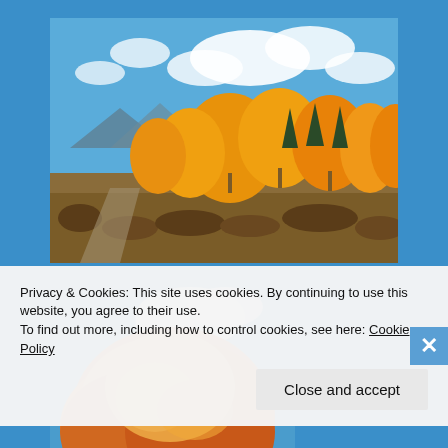[Figure (photo): Autumn landscape with golden/orange aspen trees against a blue sky with white clouds, brown scrubby vegetation in the foreground, mountains in the background]
[Figure (photo): Close-up of an orange/red autumn tree top against a blue sky with a wispy white cloud]
Privacy & Cookies: This site uses cookies. By continuing to use this website, you agree to their use.
To find out more, including how to control cookies, see here: Cookie Policy